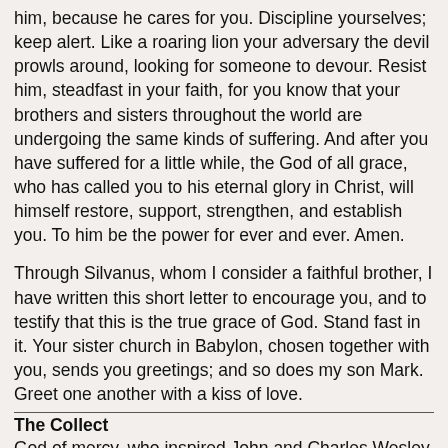him, because he cares for you. Discipline yourselves; keep alert. Like a roaring lion your adversary the devil prowls around, looking for someone to devour. Resist him, steadfast in your faith, for you know that your brothers and sisters throughout the world are undergoing the same kinds of suffering. And after you have suffered for a little while, the God of all grace, who has called you to his eternal glory in Christ, will himself restore, support, strengthen, and establish you. To him be the power for ever and ever. Amen.
Through Silvanus, whom I consider a faithful brother, I have written this short letter to encourage you, and to testify that this is the true grace of God. Stand fast in it. Your sister church in Babylon, chosen together with you, sends you greetings; and so does my son Mark. Greet one another with a kiss of love.
The Collect
God of mercy, who inspired John and Charles Wesley with zeal for your gospel: grant to all people boldness to proclaim your word and a heart ever to rejoice in singing your praises; through Jesus Christ your Son our Lord, who is alive and